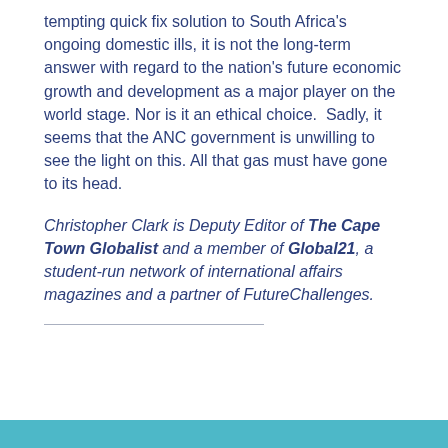tempting quick fix solution to South Africa's ongoing domestic ills, it is not the long-term answer with regard to the nation's future economic growth and development as a major player on the world stage. Nor is it an ethical choice.  Sadly, it seems that the ANC government is unwilling to see the light on this. All that gas must have gone to its head.
Christopher Clark is Deputy Editor of The Cape Town Globalist and a member of Global21, a student-run network of international affairs magazines and a partner of FutureChallenges.
Tags: Africa, developing countries, sustainable development